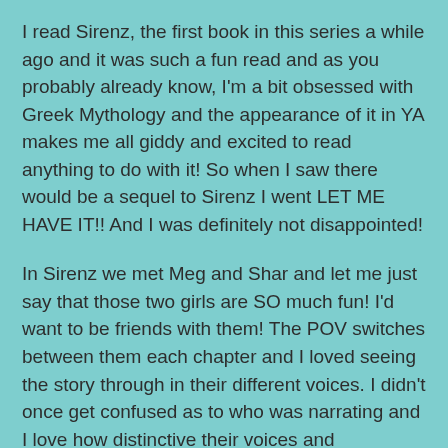I read Sirenz, the first book in this series a while ago and it was such a fun read and as you probably already know, I'm a bit obsessed with Greek Mythology and the appearance of it in YA makes me all giddy and excited to read anything to do with it! So when I saw there would be a sequel to Sirenz I went LET ME HAVE IT!! And I was definitely not disappointed!
In Sirenz we met Meg and Shar and let me just say that those two girls are SO much fun! I'd want to be friends with them! The POV switches between them each chapter and I loved seeing the story through in their different voices. I didn't once get confused as to who was narrating and I love how distinctive their voices and characters were. They've definitely grown a lot since the beginning of the series and I love it when that happens!
Also, while appreciating both for the wonderful characters they are on their own, I just adored the friendship they share. It's not always easy, especially with all of the Siren stuff going on, but they genuinely care for each other and are willing to put aside their own feelings for the other and take